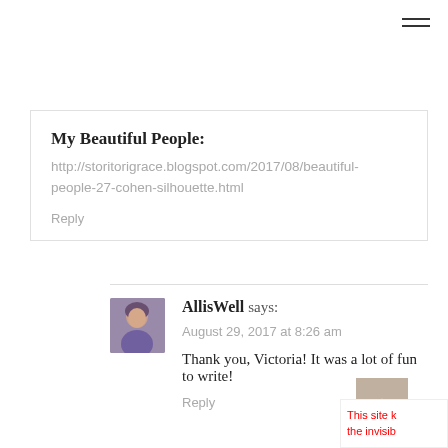[Figure (other): Hamburger menu icon (three horizontal lines) in top-right corner]
My Beautiful People:
http://storitorigrace.blogspot.com/2017/08/beautiful-people-27-cohen-silhouette.html
Reply
[Figure (photo): Small avatar photo of a person with short hair and purple clothing]
AllisWell says:
August 29, 2017 at 8:26 am
Thank you, Victoria! It was a lot of fun to write!
Reply
This site k the invisib